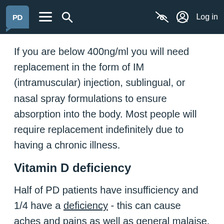PD [logo] ≡ 🔍 [nav icons] Log in
If you are below 400ng/ml you will need replacement in the form of IM (intramuscular) injection, sublingual, or nasal spray formulations to ensure absorption into the body. Most people will require replacement indefinitely due to having a chronic illness.
Vitamin D deficiency
Half of PD patients have insufficiency and 1/4 have a deficiency - this can cause aches and pains as well as general malaise. Make sure your doctor is checking your blood routinely